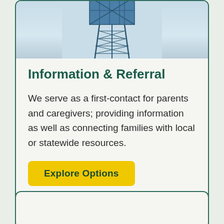[Figure (photo): A communications tower or utility tower structure with blue steel frame against a light blue sky background, shown from below/mid level]
Information & Referral
We serve as a first-contact for parents and caregivers; providing information as well as connecting families with local or statewide resources.
Explore Options